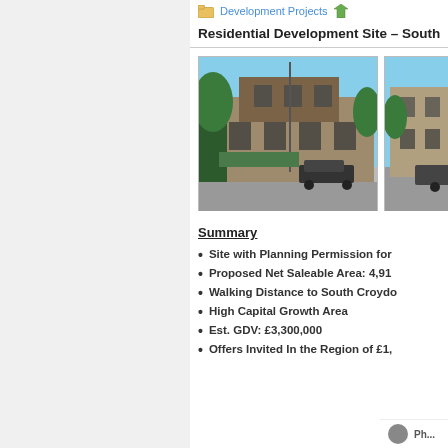Development Projects
Residential Development Site – South
[Figure (photo): Rendered image of a residential development building with brick/stone facade and trees, street view]
[Figure (photo): Partial view of a second photo of the development site]
Summary
Site with Planning Permission for
Proposed Net Saleable Area: 4,91
Walking Distance to South Croydo
High Capital Growth Area
Est. GDV: £3,300,000
Offers Invited In the Region of £1,